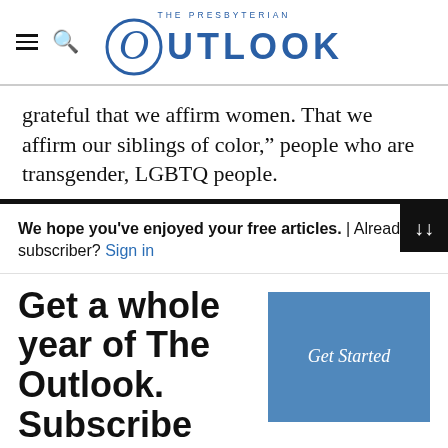The Presbyterian Outlook
grateful that we affirm women. That we affirm our siblings of color,” people who are transgender, LGBTQ people.
We hope you've enjoyed your free articles. | Already a subscriber? Sign in
Get a whole year of The Outlook. Subscribe today.
You have viewed 1 out of 3 free page views.